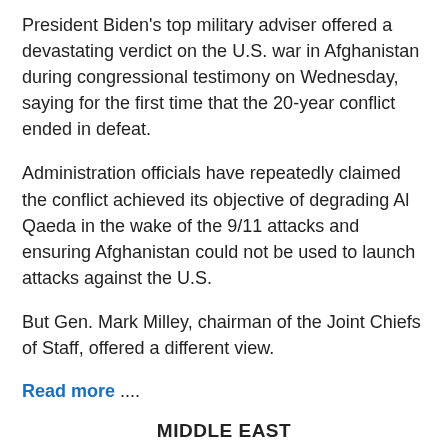President Biden's top military adviser offered a devastating verdict on the U.S. war in Afghanistan during congressional testimony on Wednesday, saying for the first time that the 20-year conflict ended in defeat.
Administration officials have repeatedly claimed the conflict achieved its objective of degrading Al Qaeda in the wake of the 9/11 attacks and ensuring Afghanistan could not be used to launch attacks against the U.S.
But Gen. Mark Milley, chairman of the Joint Chiefs of Staff, offered a different view.
Read more ....
MIDDLE EAST
At least 100 killed in clashes for Yemen's Marib: Military sources.
Iran, Saudi sides continue tension-easing talks in Baghdad.
Riyadh, Saudi Arabia have halted talks in...